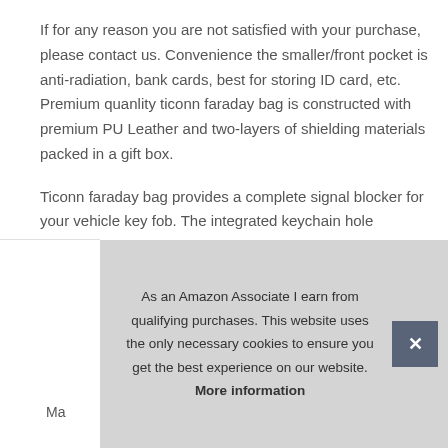If for any reason you are not satisfied with your purchase, please contact us. Convenience the smaller/front pocket is anti-radiation, bank cards, best for storing ID card, etc. Premium quanlity ticonn faraday bag is constructed with premium PU Leather and two-layers of shielding materials packed in a gift box.
Ticonn faraday bag provides a complete signal blocker for your vehicle key fob. The integrated keychain hole provides more flexibility. Why you may need one get your car protected. 100% satisfaction Guarantee for risk-free shopping! We provide 30-day money back and lifetime warranty. Easy to carry dim
As an Amazon Associate I earn from qualifying purchases. This website uses the only necessary cookies to ensure you get the best experience on our website. More information